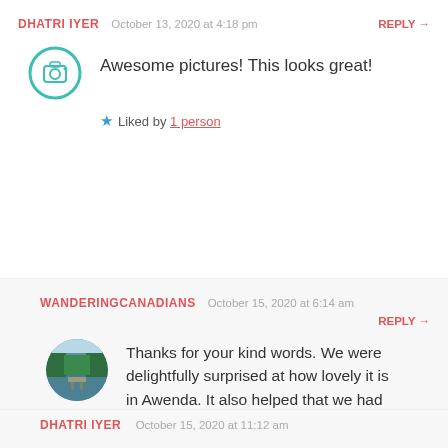DHATRI IYER  October 13, 2020 at 4:18 pm  REPLY →
[Figure (illustration): Round teal avatar icon with a camera symbol inside a circle]
Awesome pictures! This looks great!
★ Liked by 1 person
WANDERINGCANADIANS  October 15, 2020 at 6:14 am  REPLY →
[Figure (photo): Circular profile photo showing a lake with green trees reflected in water, with a wooden dock or boat in the foreground]
Thanks for your kind words. We were delightfully surprised at how lovely it is in Awenda. It also helped that we had fabulous weather during our visit. Thanks for reading and commenting.
★ Liked by 1 person
DHATRI IYER  October 15, 2020 at 11:12 am